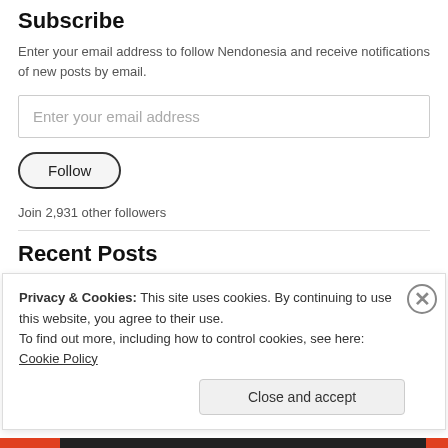Subscribe
Enter your email address to follow Nendonesia and receive notifications of new posts by email.
Enter your email address
Follow
Join 2,931 other followers
Recent Posts
Winter WonFes 2016 Nendoroid Line-Up
Privacy & Cookies: This site uses cookies. By continuing to use this website, you agree to their use.
To find out more, including how to control cookies, see here: Cookie Policy
Close and accept